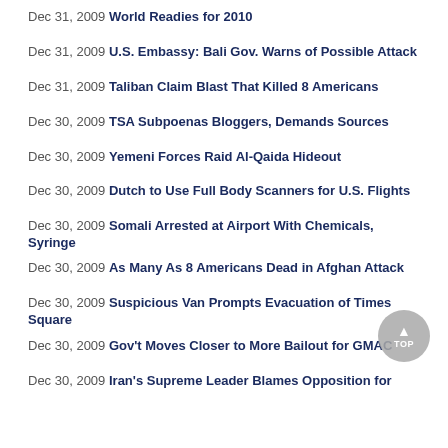Dec 31, 2009 World Readies for 2010
Dec 31, 2009 U.S. Embassy: Bali Gov. Warns of Possible Attack
Dec 31, 2009 Taliban Claim Blast That Killed 8 Americans
Dec 30, 2009 TSA Subpoenas Bloggers, Demands Sources
Dec 30, 2009 Yemeni Forces Raid Al-Qaida Hideout
Dec 30, 2009 Dutch to Use Full Body Scanners for U.S. Flights
Dec 30, 2009 Somali Arrested at Airport With Chemicals, Syringe
Dec 30, 2009 As Many As 8 Americans Dead in Afghan Attack
Dec 30, 2009 Suspicious Van Prompts Evacuation of Times Square
Dec 30, 2009 Gov't Moves Closer to More Bailout for GMAC
Dec 30, 2009 Iran's Supreme Leader Blames Opposition for